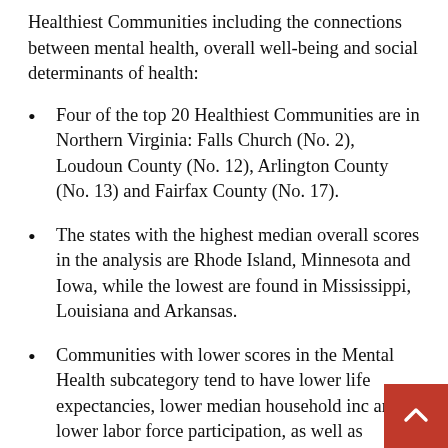Healthiest Communities including the connections between mental health, overall well-being and social determinants of health:
Four of the top 20 Healthiest Communities are in Northern Virginia: Falls Church (No. 2), Loudoun County (No. 12), Arlington County (No. 13) and Fairfax County (No. 17).
The states with the highest median overall scores in the analysis are Rhode Island, Minnesota and Iowa, while the lowest are found in Mississippi, Louisiana and Arkansas.
Communities with lower scores in the Mental Health subcategory tend to have lower life expectancies, lower median household income and lower labor force participation, as well as